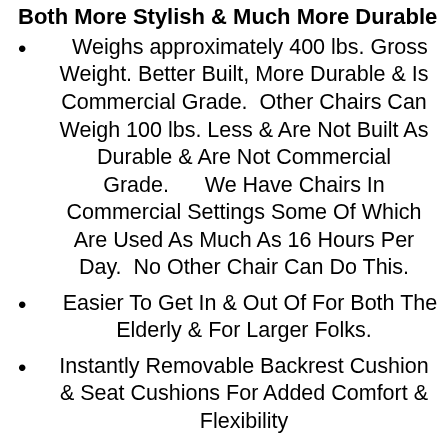Both More Stylish & Much More Durable
Weighs approximately 400 lbs. Gross Weight. Better Built, More Durable & Is Commercial Grade.  Other Chairs Can Weigh 100 lbs. Less & Are Not Built As Durable & Are Not Commercial Grade.  We Have Chairs In Commercial Settings Some Of Which Are Used As Much As 16 Hours Per Day.  No Other Chair Can Do This.
Easier To Get In & Out Of For Both The Elderly & For Larger Folks.
Instantly Removable Backrest Cushion & Seat Cushions For Added Comfort & Flexibility